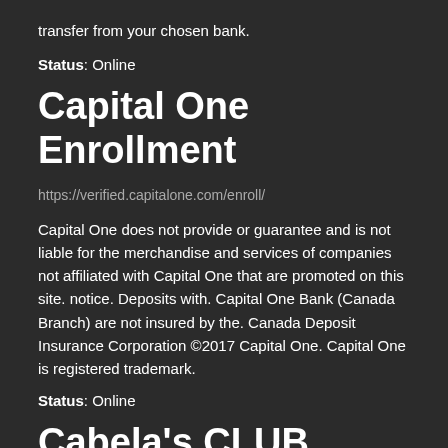transfer from your chosen bank.
Status: Online
Capital One Enrollment
https://verified.capitalone.com/enroll/
Capital One does not provide or guarantee and is not liable for the merchandise and services of companies not affiliated with Capital One that are promoted on this site. notice. Deposits with. Capital One Bank (Canada Branch) are not insured by the. Canada Deposit Insurance Corporation ©2017 Capital One. Capital One is registered trademark.
Status: Online
Cabela's CLUB Member Deals